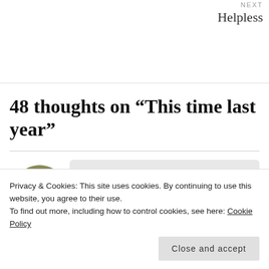NEXT
Helpless
48 thoughts on “This time last year”
[Figure (illustration): Emoticon avatar: a yellow diamond-shaped face with a sad/tired expression, on a round brownish-green background]
NBose
Privacy & Cookies: This site uses cookies. By continuing to use this website, you agree to their use.
To find out more, including how to control cookies, see here: Cookie Policy
Close and accept